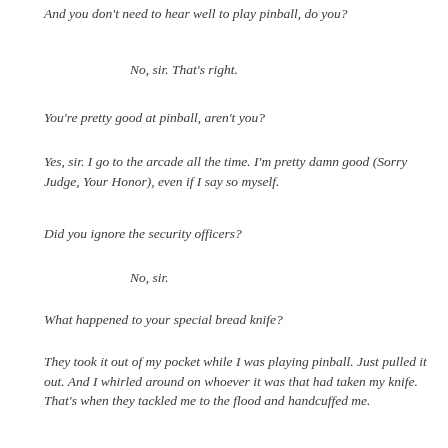And you don't need to hear well to play pinball, do you?
No, sir.  That's right.
You're pretty good at pinball, aren't you?
Yes, sir.  I go to the arcade all the time.  I'm pretty damn good (Sorry Judge, Your Honor), even if I say so myself.
Did you ignore the security officers?
No, sir.
What happened to your special bread knife?
They took it out of my pocket while I was playing pinball.  Just pulled it out.  And I whirled around on whoever it was that had taken my knife.  That's when they tackled me to the flood and handcuffed me.